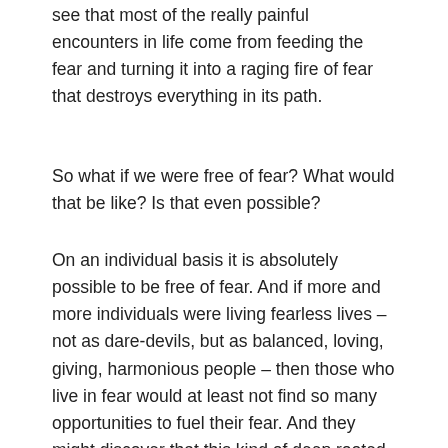see that most of the really painful encounters in life come from feeding the fear and turning it into a raging fire of fear that destroys everything in its path.
So what if we were free of fear? What would that be like? Is that even possible?
On an individual basis it is absolutely possible to be free of fear. And if more and more individuals were living fearless lives – not as dare-devils, but as balanced, loving, giving, harmonious people – then those who live in fear would at least not find so many opportunities to fuel their fear. And they might discover that this kind of deep rooted loving-kindness is even more contagious than fear.